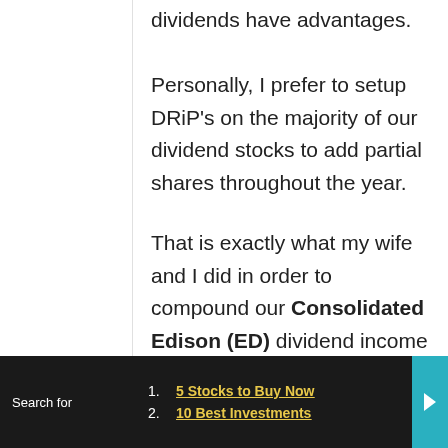dividends have advantages. Personally, I prefer to setup DRiP's on the majority of our dividend stocks to add partial shares throughout the year.
That is exactly what my wife and I did in order to compound our Consolidated Edison (ED) dividend income stream.
Over the past decade (plus), we have
Search for
1. 5 Stocks to Buy Now
2. 10 Best Investments